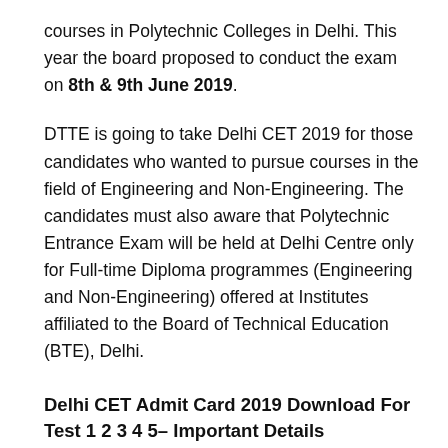courses in Polytechnic Colleges in Delhi. This year the board proposed to conduct the exam on 8th & 9th June 2019.
DTTE is going to take Delhi CET 2019 for those candidates who wanted to pursue courses in the field of Engineering and Non-Engineering. The candidates must also aware that Polytechnic Entrance Exam will be held at Delhi Centre only for Full-time Diploma programmes (Engineering and Non-Engineering) offered at Institutes affiliated to the Board of Technical Education (BTE), Delhi.
Delhi CET Admit Card 2019 Download For Test 1 2 3 4 5– Important Details